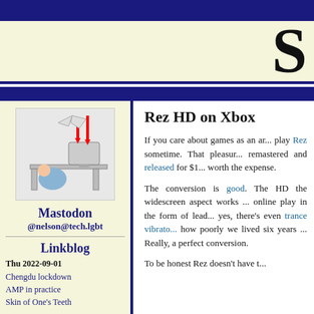S
[Figure (illustration): Cartoon illustration of a person cowering under a desk with a computer monitor, with red downward arrows indicating something falling or crashing]
Mastodon
@nelson@tech.lgbt
Linkblog
Thu 2022-09-01
Chengdu lockdown
AMP in practice
Skin of One's Teeth
Rez HD on Xbox
If you care about games as an art, play Rez sometime. That pleasure is now remastered and released for $1... worth the expense.
The conversion is good. The HD the widescreen aspect works... online play in the form of leaderboards, yes, there's even trance vibrators... how poorly we lived six years ago... Really, a perfect conversion.
To be honest Rez doesn't have t...